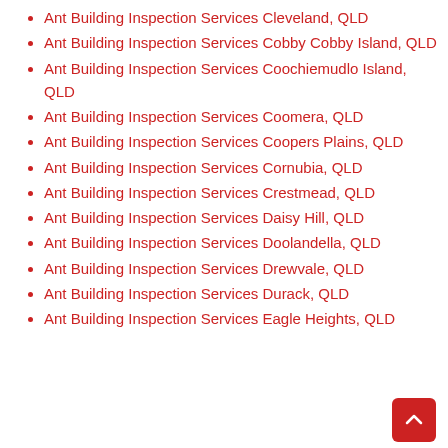Ant Building Inspection Services Cleveland, QLD
Ant Building Inspection Services Cobby Cobby Island, QLD
Ant Building Inspection Services Coochiemudlo Island, QLD
Ant Building Inspection Services Coomera, QLD
Ant Building Inspection Services Coopers Plains, QLD
Ant Building Inspection Services Cornubia, QLD
Ant Building Inspection Services Crestmead, QLD
Ant Building Inspection Services Daisy Hill, QLD
Ant Building Inspection Services Doolandella, QLD
Ant Building Inspection Services Drewvale, QLD
Ant Building Inspection Services Durack, QLD
Ant Building Inspection Services Eagle Heights, QLD